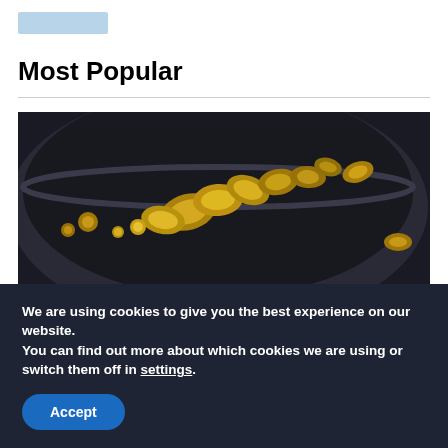[navigation bar placeholder]
Most Popular
[Figure (photo): A dark bowl or pan containing gold nuggets/pieces on a dark background, with additional gold nuggets scattered nearby.]
We are using cookies to give you the best experience on our website.
You can find out more about which cookies we are using or switch them off in settings.
Accept